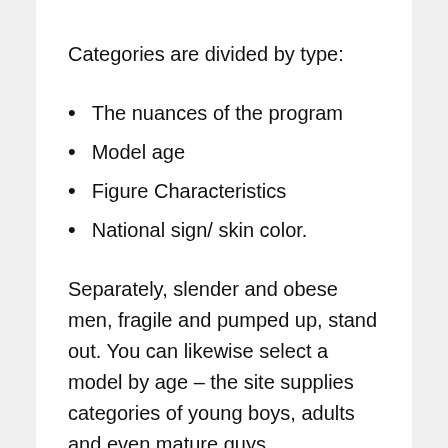Categories are divided by type:
The nuances of the program
Model age
Figure Characteristics
National sign/ skin color.
Separately, slender and obese men, fragile and pumped up, stand out. You can likewise select a model by age – the site supplies categories of young boys, adults and even mature guys.